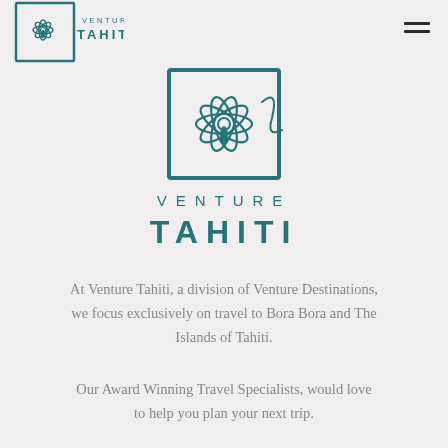[Figure (logo): Venture Tahiti small logo in header with flower and square bracket design, teal color]
[Figure (logo): Venture Tahiti large centered logo with flower and square bracket design, teal color, with text VENTURE TAHITI below]
At Venture Tahiti, a division of Venture Destinations, we focus exclusively on travel to Bora Bora and The Islands of Tahiti.
Our Award Winning Travel Specialists, would love to help you plan your next trip.